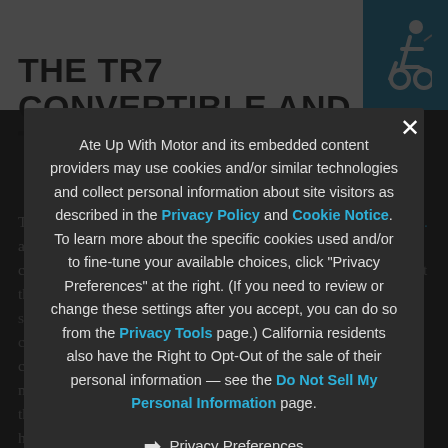THE TR7 CONVERTIBLE AND THE TRIUMPH TR8
Throughout the 1970s, British Leyland was trying to sell the market on new models, and this is a great deal about why the MGB was certainly competitive in a moderate rubber-bumper, so it has been argued that the MGB's folding top was a strong advantage in the US market, since U.S. federal regulations did not have outlawed the convertible body style in 1972 — the regulations left open an exemption for convertibles — but the threat of those regulations had helped to make open cars rather thin on the ground by 1975. The fact that the MGB and Triumph Spitfire were among the remaining holdouts, undoubtedly a major factor in their continued popularity.
Ate Up With Motor and its embedded content providers may use cookies and/or similar technologies and collect personal information about site visitors as described in the Privacy Policy and Cookie Notice. To learn more about the specific cookies used and/or to fine-tune your available choices, click "Privacy Preferences" at the right. (If you need to review or change these settings after you accept, you can do so from the Privacy Tools page.) California residents also have the Right to Opt-Out of the sale of their personal information — see the Do Not Sell My Personal Information page.
Privacy Preferences
I Agree